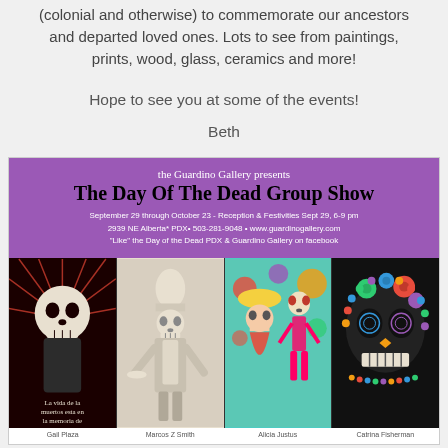(colonial and otherwise) to commemorate our ancestors and departed loved ones. Lots to see from paintings, prints, wood, glass, ceramics and more!
Hope to see you at some of the events!
Beth
[Figure (photo): Day of the Dead Group Show flyer for Guardino Gallery. Shows purple banner with show title, dates September 29 through October 23, reception Sept 29 6-9pm, address 2939 NE Alberta PDX, phone 503-281-9048, website www.guardinogallery.com. Below are four images of Day of the Dead art: a skull with red rays, a ceramic chef figure, a colorful skeleton with woman, and a beaded decorated skull.]